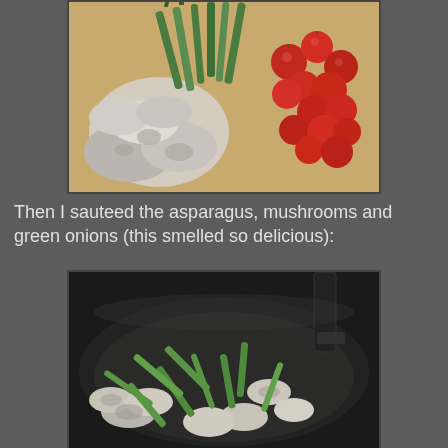[Figure (photo): Chopped vegetables on a wooden cutting board: sliced mushrooms on the left, asparagus in the middle-top, and halved cherry tomatoes on the right.]
Then I sauteed the asparagus, mushrooms and green onions (this smelled so delicious):
[Figure (photo): Asparagus pieces and sliced mushrooms sauteing in a dark cast iron skillet, with a spatula visible at the top right.]